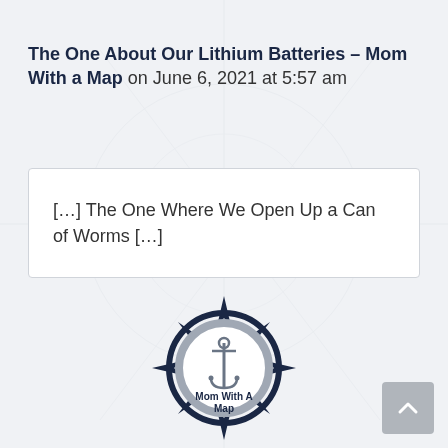The One About Our Lithium Batteries – Mom With a Map on June 6, 2021 at 5:57 am
[…] The One Where We Open Up a Can of Worms […]
[Figure (logo): Mom With A Map circular compass/anchor logo in navy and grey]